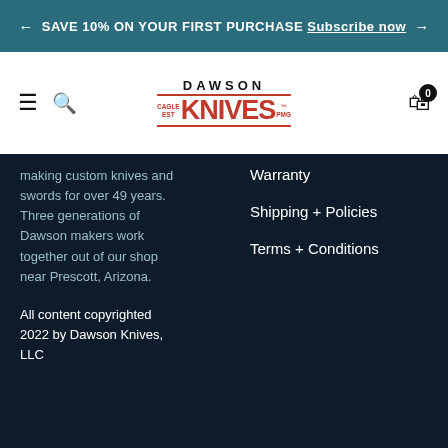← SAVE 10% ON YOUR FIRST PURCHASE Subscribe now →
[Figure (logo): Dawson Knives logo with hamburger menu, search icon, and cart badge showing 0]
making custom knives and swords for over 49 years. Three generations of Dawson makers work together out of our shop near Prescott, Arizona.
All content copyrighted 2022 by Dawson Knives, LLC
Warranty
Shipping + Policies
Terms + Conditions